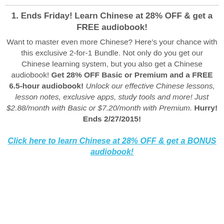1. Ends Friday! Learn Chinese at 28% OFF & get a FREE audiobook!
Want to master even more Chinese? Here’s your chance with this exclusive 2-for-1 Bundle. Not only do you get our Chinese learning system, but you also get a Chinese audiobook! Get 28% OFF Basic or Premium and a FREE 6.5-hour audiobook! Unlock our effective Chinese lessons, lesson notes, exclusive apps, study tools and more! Just $2.88/month with Basic or $7.20/month with Premium. Hurry! Ends 2/27/2015!
Click here to learn Chinese at 28% OFF & get a BONUS audiobook!